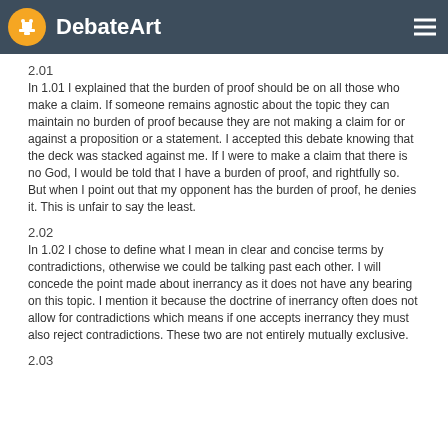DebateArt
2.01
In 1.01 I explained that the burden of proof should be on all those who make a claim. If someone remains agnostic about the topic they can maintain no burden of proof because they are not making a claim for or against a proposition or a statement. I accepted this debate knowing that the deck was stacked against me. If I were to make a claim that there is no God, I would be told that I have a burden of proof, and rightfully so. But when I point out that my opponent has the burden of proof, he denies it. This is unfair to say the least.
2.02
In 1.02 I chose to define what I mean in clear and concise terms by contradictions, otherwise we could be talking past each other. I will concede the point made about inerrancy as it does not have any bearing on this topic. I mention it because the doctrine of inerrancy often does not allow for contradictions which means if one accepts inerrancy they must also reject contradictions. These two are not entirely mutually exclusive.
2.03